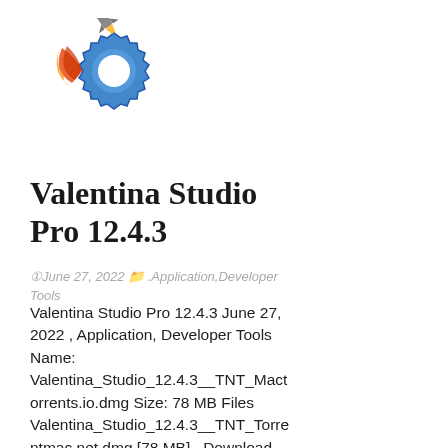[Figure (logo): Valentina Studio application logo: a blue gear/cog with a rocket/pencil launching from it and an orange/red flame swirl, on white background]
Valentina Studio Pro 12.4.3
June 27, 2022  . Application, Developer Tools
Valentina Studio Pro 12.4.3 June 27, 2022 , Application, Developer Tools Name: Valentina_Studio_12.4.3__TNT_Mactorrents.io.dmg Size: 78 MB Files Valentina_Studio_12.4.3__TNT_Torrentmac.net.dmg [78 MB]   Download          Valentina Studio Pro 12.4.3 macOS Valentina Studio...